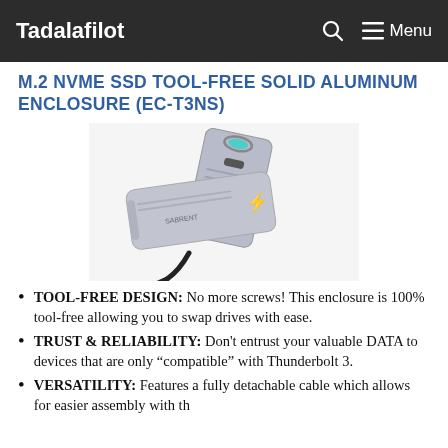Tadalafilot    🔍  ☰ Menu
M.2 NVME SSD TOOL-FREE SOLID ALUMINUM ENCLOSURE (EC-T3NS)
[Figure (photo): Product photo of two silver aluminum M.2 NVMe SSD enclosures (EC-T3NS), one upright with a USB-C port and teal LED ring visible, and one lying flat with a Thunderbolt logo, connected by a black cable.]
TOOL-FREE DESIGN: No more screws! This enclosure is 100% tool-free allowing you to swap drives with ease.
TRUST & RELIABILITY: Don't entrust your valuable DATA to devices that are only "compatible" with Thunderbolt 3.
VERSATILITY: Features a fully detachable cable which allows for easier assembly with th…